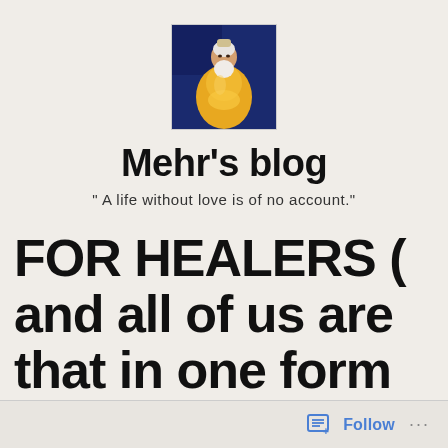[Figure (illustration): Small square painting or photo of a spiritual figure in yellow/gold robes with a white beard, seated against a blue background]
Mehr's blog
" A life without love is of no account."
FOR HEALERS ( and all of us are that in one form or another)
Follow ...